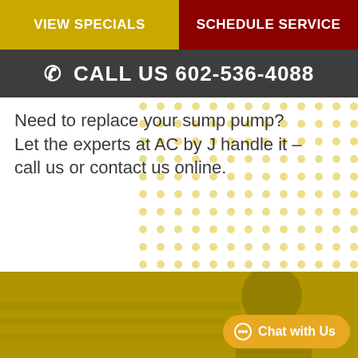VIEW SPECIALS | SCHEDULE SERVICE
CALL US 602-536-4088
Need to replace your sump pump? Let the experts at AC by J handle it – call us or contact us online.
[Figure (photo): Photo of a technician with golden/yellow overlay, partially visible]
Chat with Us
SUMP PUMP REPAIR IN